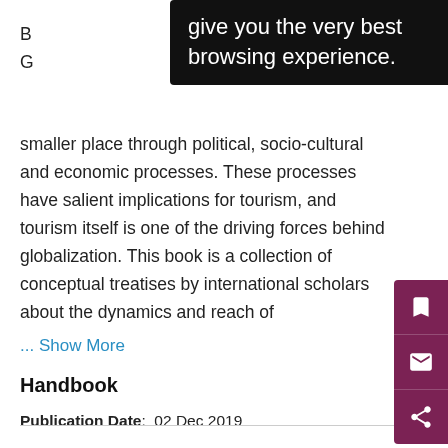[Figure (screenshot): Black tooltip overlay showing text 'give you the very best browsing experience.']
smaller place through political, socio-cultural and economic processes. These processes have salient implications for tourism, and tourism itself is one of the driving forces behind globalization. This book is a collection of conceptual treatises by international scholars about the dynamics and reach of
... Show More
Handbook
Publication Date:  02 Dec 2019
DOI:  https://doi.org/10.4337/9781786431295
Collections:  Social and Political Science 2019